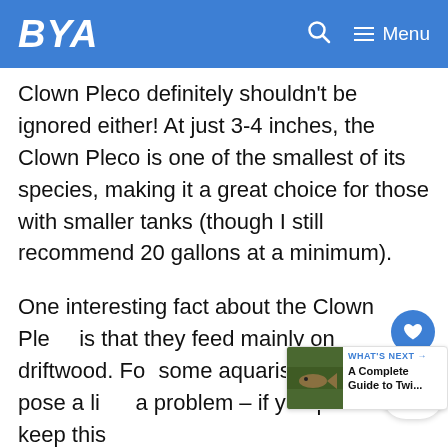BYA
Clown Pleco definitely shouldn't be ignored either! At just 3-4 inches, the Clown Pleco is one of the smallest of its species, making it a great choice for those with smaller tanks (though I still recommend 20 gallons at a minimum).
One interesting fact about the Clown Pleco is that they feed mainly on driftwood. For some aquarists, this can pose a little a problem – if you plan to keep this
[Figure (infographic): What's Next widget with fish image, label 'WHAT'S NEXT →' and title 'A Complete Guide to Twi...']